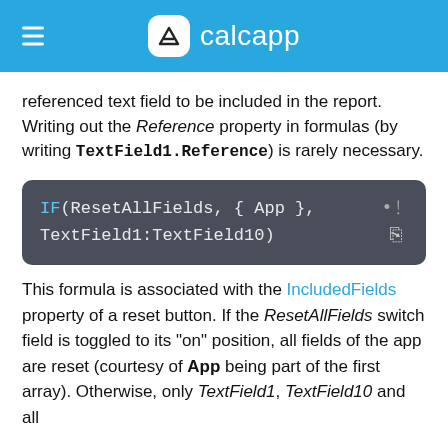calcapp
referenced text field to be included in the report. Writing out the Reference property in formulas (by writing TextField1.Reference) is rarely necessary.
This formula is associated with the IncludedFields property of a reset button. If the ResetAllFields switch field is toggled to its "on" position, all fields of the app are reset (courtesy of App being part of the first array). Otherwise, only TextField1, TextField10 and all